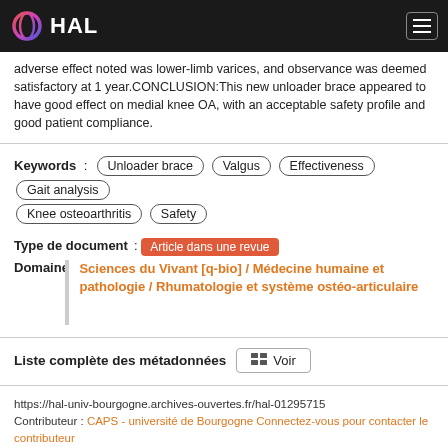HAL
adverse effect noted was lower-limb varices, and observance was deemed satisfactory at 1 year.CONCLUSION:This new unloader brace appeared to have good effect on medial knee OA, with an acceptable safety profile and good patient compliance.
Keywords : Unloader brace | Valgus | Effectiveness | Gait analysis | Knee osteoarthritis | Safety
Type de document : Article dans une revue
Domaine : Sciences du Vivant [q-bio] / Médecine humaine et pathologie / Rhumatologie et système ostéo-articulaire
Liste complète des métadonnées  Voir
https://hal-univ-bourgogne.archives-ouvertes.fr/hal-01295715
Contributeur : CAPS - université de Bourgogne Connectez-vous pour contacter le contributeur
Soumis le : jeudi 31 mars 2016 - 15:10:07